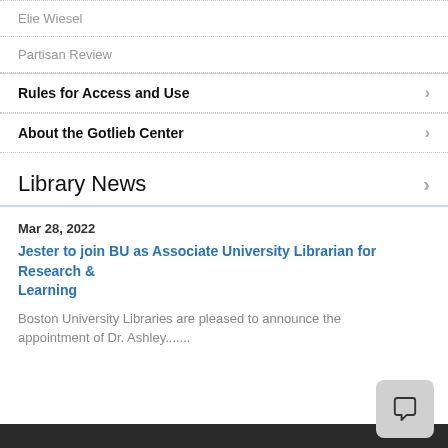Elie Wiesel
Partisan Review
Rules for Access and Use
About the Gotlieb Center
Library News
Mar 28, 2022
Jester to join BU as Associate University Librarian for Research & Learning
Boston University Libraries are pleased to announce the appointment of Dr. Ashley.......